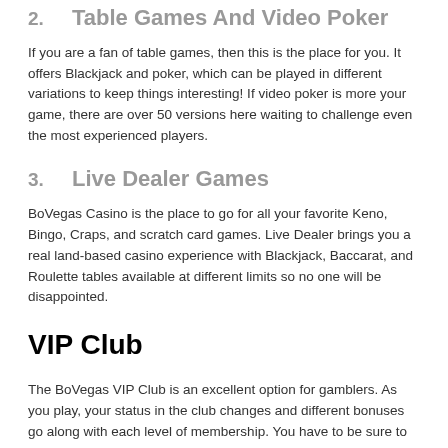2.    Table Games And Video Poker
If you are a fan of table games, then this is the place for you. It offers Blackjack and poker, which can be played in different variations to keep things interesting! If video poker is more your game, there are over 50 versions here waiting to challenge even the most experienced players.
3.    Live Dealer Games
BoVegas Casino is the place to go for all your favorite Keno, Bingo, Craps, and scratch card games. Live Dealer brings you a real land-based casino experience with Blackjack, Baccarat, and Roulette tables available at different limits so no one will be disappointed.
VIP Club
The BoVegas VIP Club is an excellent option for gamblers. As you play, your status in the club changes and different bonuses go along with each level of membership. You have to be sure to check out all the perks because it can get challenging to figure out which one best suits you!